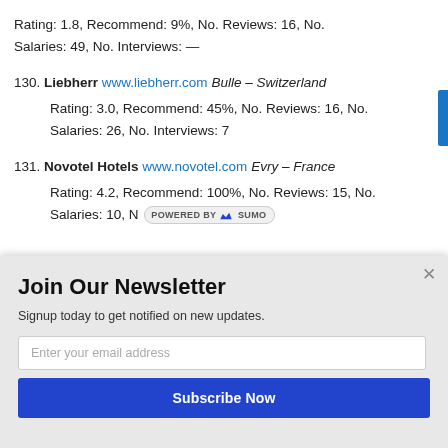Rating: 1.8, Recommend: 9%, No. Reviews: 16, No. Salaries: 49, No. Interviews: —
130. Liebherr www.liebherr.com Bulle – Switzerland
Rating: 3.0, Recommend: 45%, No. Reviews: 16, No. Salaries: 26, No. Interviews: 7
131. Novotel Hotels www.novotel.com Evry – France
Rating: 4.2, Recommend: 100%, No. Reviews: 15, No. Salaries: 10, No. Interviews: [truncated]
Join Our Newsletter
Signup today to get notified on new updates.